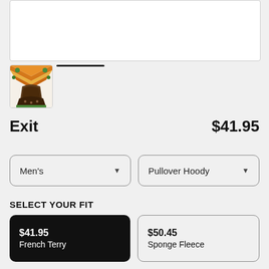[Figure (photo): White product image area at top of page]
[Figure (photo): Thumbnail of a colorful decorative hoodie product with orange, green, and brown tones]
Exit
$41.95
Men's (dropdown)
Pullover Hoody (dropdown)
SELECT YOUR FIT
$41.95
French Terry
$50.45
Sponge Fleece